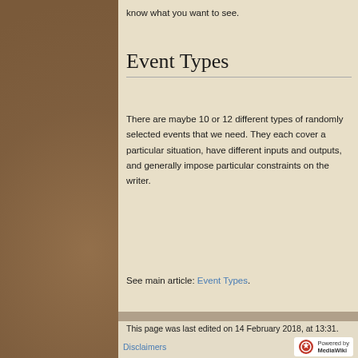know what you want to see.
Event Types
There are maybe 10 or 12 different types of randomly selected events that we need. They each cover a particular situation, have different inputs and outputs, and generally impose particular constraints on the writer.
See main article: Event Types.
This page was last edited on 14 February 2018, at 13:31.
Privacy policy   About Wildermyth Wiki   Disclaimers